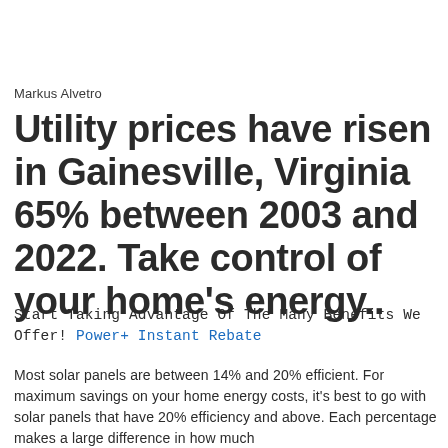Markus Alvetro
Utility prices have risen in Gainesville, Virginia 65% between 2003 and 2022. Take control of your home's energy..
Start Taking Advantage Of The Many Benefits We Offer! Power+ Instant Rebate
Most solar panels are between 14% and 20% efficient. For maximum savings on your home energy costs, it's best to go with solar panels that have 20% efficiency and above. Each percentage makes a large difference in how much